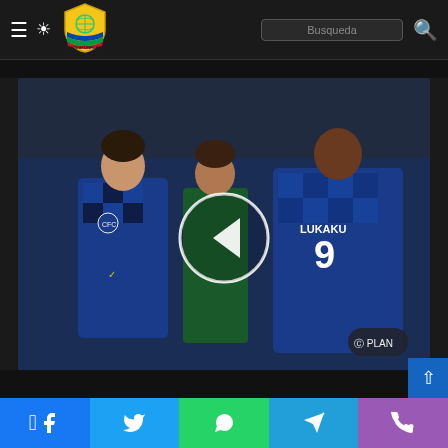AQUAFUNPLAY – header with hamburger menu, brightness toggle, logo, search bar, search icon
[Figure (photo): Two Chelsea FC players in blue checkered kits on a football pitch. One player wearing number 9 jersey with 'LUKAKU' on the back, another facing camera. A referee in green stands between them. A circular play/back button overlay is visible in the center of the image. A 'PLAN' sponsor badge visible bottom right.]
Thomas Tuchel provides Kai Havertz & Romelu Lukaku injury updates
Social share bar: Facebook, Twitter, WhatsApp, Telegram, Phone